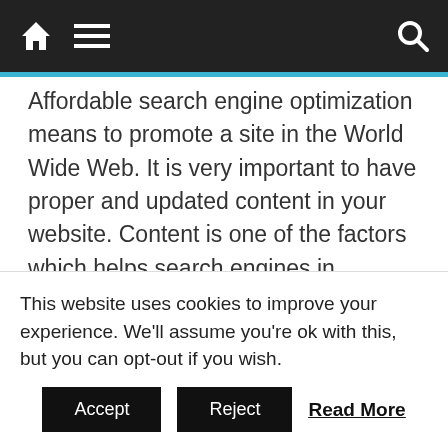[Navigation bar with home icon, menu icon, and search icon]
Affordable search engine optimization means to promote a site in the World Wide Web. It is very important to have proper and updated content in your website. Content is one of the factors which helps search engines in determining the importance of a website. Besides content there are many other factors which must be looked into for optimizing an online shopping website.
It is advisable to get professional help for affordable search engine optimization for your business site. The professionals who work for
This website uses cookies to improve your experience. We'll assume you're ok with this, but you can opt-out if you wish.
Accept
Reject
Read More